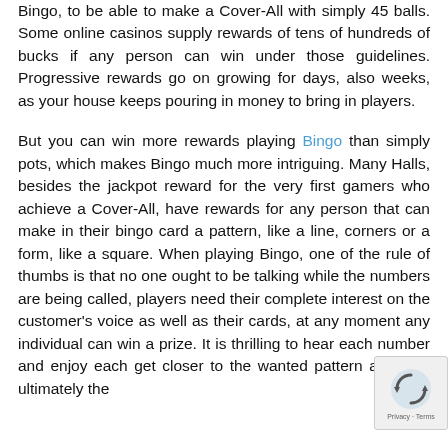Bingo, to be able to make a Cover-All with simply 45 balls. Some online casinos supply rewards of tens of hundreds of bucks if any person can win under those guidelines. Progressive rewards go on growing for days, also weeks, as your house keeps pouring in money to bring in players.
But you can win more rewards playing Bingo than simply pots, which makes Bingo much more intriguing. Many Halls, besides the jackpot reward for the very first gamers who achieve a Cover-All, have rewards for any person that can make in their bingo card a pattern, like a line, corners or a form, like a square. When playing Bingo, one of the rule of thumbs is that no one ought to be talking while the numbers are being called, players need their complete interest on the customer's voice as well as their cards, at any moment any individual can win a prize. It is thrilling to hear each number and enjoy each get closer to the wanted pattern and also ultimately the
[Figure (other): reCAPTCHA badge with spinning arrows logo and Privacy/Terms links]